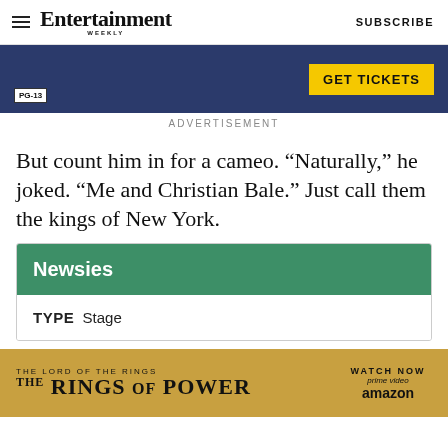Entertainment Weekly  SUBSCRIBE
[Figure (photo): Movie advertisement banner with GET TICKETS button and PG-13 rating badge]
ADVERTISEMENT
But count him in for a cameo. “Naturally,” he joked. “Me and Christian Bale.” Just call them the kings of New York.
Newsies
TYPE  Stage
[Figure (photo): The Lord of the Rings: The Rings of Power advertisement for Amazon Prime Video]